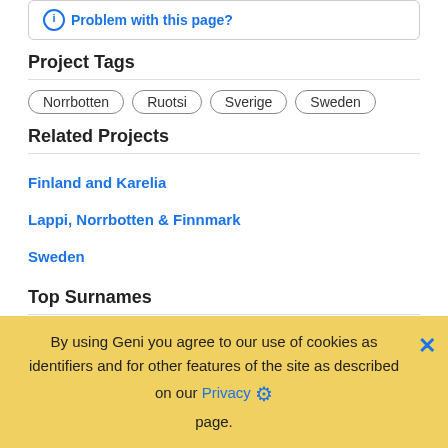Problem with this page?
Project Tags
Norrbotten
Ruotsi
Sverige
Sweden
Related Projects
Finland and Karelia
Lappi, Norrbotten & Finnmark
Sweden
Top Surnames
Stålnacke, Johansson, Kemi, Lainio and 16 others
Profiles
view all
[Figure (photo): Black and white portrait photo of Sten Sigvard Johansson, an older man with glasses in a suit]
Sten Sigvard Johansson (1913 - 1985) [] "Sten Sigvard, oä. Son till Nils Fredr...
By using Geni you agree to our use of cookies as identifiers and for other features of the site as described on our Privacy page.